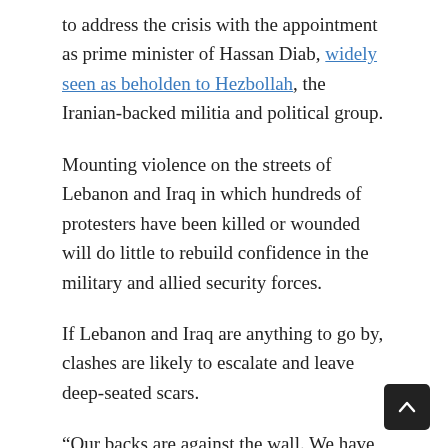to address the crisis with the appointment as prime minister of Hassan Diab, widely seen as beholden to Hezbollah, the Iranian-backed militia and political group.
Mounting violence on the streets of Lebanon and Iraq in which hundreds of protesters have been killed or wounded will do little to rebuild confidence in the military and allied security forces.
If Lebanon and Iraq are anything to go by, clashes are likely to escalate and leave deep-seated scars.
“Our backs are against the wall. We have nothing more to lose. We are fighting a regime with a history of 40 years of corruption and their armed defenders,” said a masked protester on the streets of Beirut.